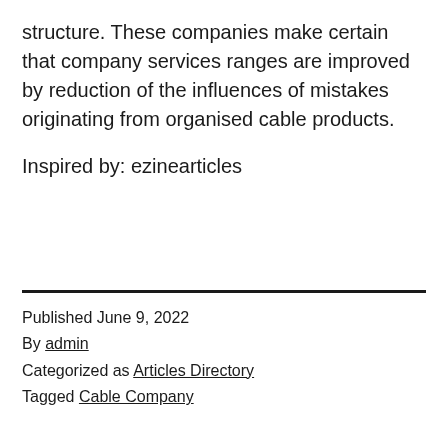structure. These companies make certain that company services ranges are improved by reduction of the influences of mistakes originating from organised cable products.
Inspired by: ezinearticles
Published June 9, 2022
By admin
Categorized as Articles Directory
Tagged Cable Company